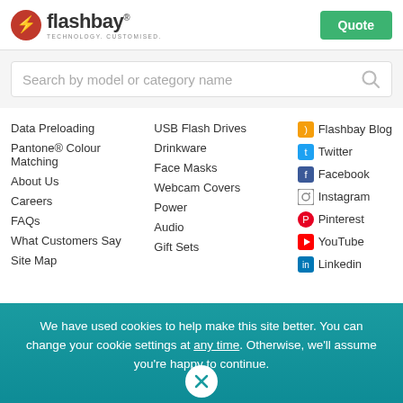[Figure (logo): Flashbay logo with lightning bolt icon and tagline 'TECHNOLOGY. CUSTOMISED.']
Quote
Search by model or category name
Data Preloading
Pantone® Colour Matching
About Us
Careers
FAQs
What Customers Say
Site Map
USB Flash Drives
Drinkware
Face Masks
Webcam Covers
Power
Audio
Gift Sets
Flashbay Blog
Twitter
Facebook
Instagram
Pinterest
YouTube
Linkedin
We have used cookies to help make this site better. You can change your cookie settings at any time. Otherwise, we'll assume you're happy to continue.